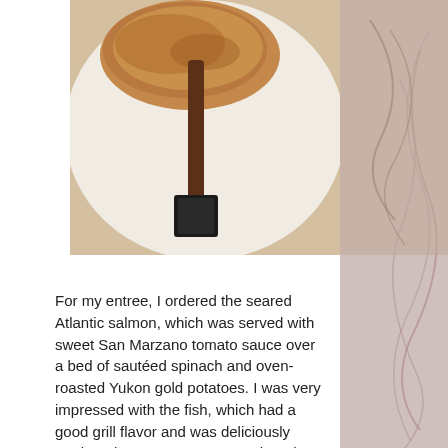[Figure (photo): Close-up photo of a seared piece of fish (Atlantic salmon) on a white plate, with a dark spatula/serving utensil resting on it.]
For my entree, I ordered the seared Atlantic salmon, which was served with sweet San Marzano tomato sauce over a bed of sautéed spinach and oven-roasted Yukon gold potatoes. I was very impressed with the fish, which had a good grill flavor and was deliciously tender. The tomato sauce was bursting with flavor, and lived up to its name